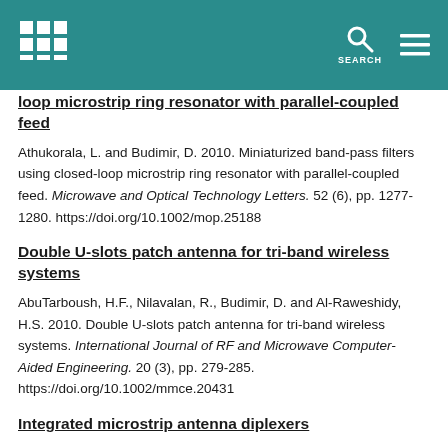SEARCH
Miniaturized band-pass filters using closed-loop microstrip ring resonator with parallel-coupled feed
Athukorala, L. and Budimir, D. 2010. Miniaturized band-pass filters using closed-loop microstrip ring resonator with parallel-coupled feed. Microwave and Optical Technology Letters. 52 (6), pp. 1277-1280. https://doi.org/10.1002/mop.25188
Double U-slots patch antenna for tri-band wireless systems
AbuTarboush, H.F., Nilavalan, R., Budimir, D. and Al-Raweshidy, H.S. 2010. Double U-slots patch antenna for tri-band wireless systems. International Journal of RF and Microwave Computer-Aided Engineering. 20 (3), pp. 279-285. https://doi.org/10.1002/mmce.20431
Integrated microstrip antenna diplexers
Zayniyev, D. and Budimir, D. 2010. Integrated microstrip antenna